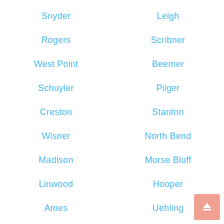Snyder
Leigh
Rogers
Scribner
West Point
Beemer
Schuyler
Pilger
Creston
Stanton
Wisner
North Bend
Madison
Morse Bluff
Linwood
Hooper
Ames
Uehling